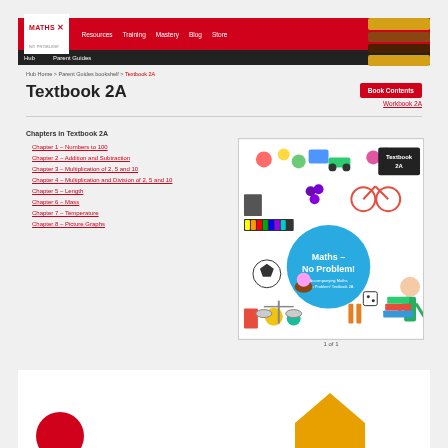MATHS — No Problem! | Resources | Training | Mastery | Blog | Store
Hub | Parent Guides
Hub Home > Parent Guides bookshelf > Textbook 2A
Textbook 2A
Book Contents
Workbook 2A
Chapters in Textbook 2A
Chapter 1 – Numbers to 100
Chapter 2 – Addition and Subtraction
Chapter 3 – Multiplication of 2, 5 and 10
Chapter 4 – Multiplication and Division of 2, 5 and 10
Chapter 5 – Length
Chapter 6 – Mass
Chapter 7 – Temperature
Chapter 8 – Picture Graphs
[Figure (photo): Cover of Textbook 2A – Maths No Problem! with colourful objects including toys, food, sports equipment, and a girl on white background with blue circle logo]
1 of 1